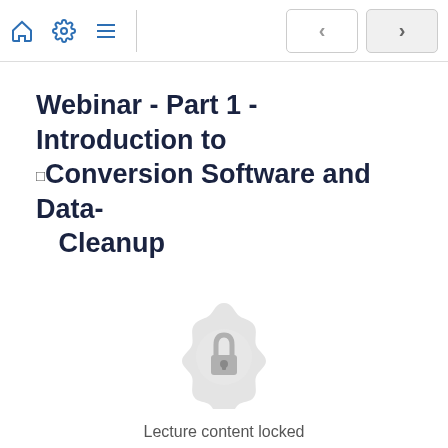[Figure (screenshot): Navigation toolbar with home icon, settings/gear icon, menu/list icon (separated by divider), and back/forward navigation buttons on the right]
Webinar - Part 1 - Introduction to Conversion Software and Data-Cleanup
[Figure (illustration): Locked content badge icon: a circular gear/rosette shape in light gray with a padlock icon in the center, indicating locked lecture content]
Lecture content locked
If you're already enrolled, you'll need to login.